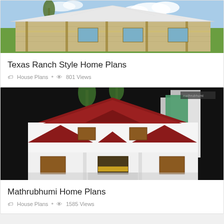[Figure (photo): Texas ranch style home - single story stone house with white metal roof and covered porch]
Texas Ranch Style Home Plans
House Plans • 801 Views
[Figure (photo): Mathrubhumi home plans - two story Kerala style house with red/maroon roof, aerial view]
Mathrubhumi Home Plans
House Plans • 1585 Views